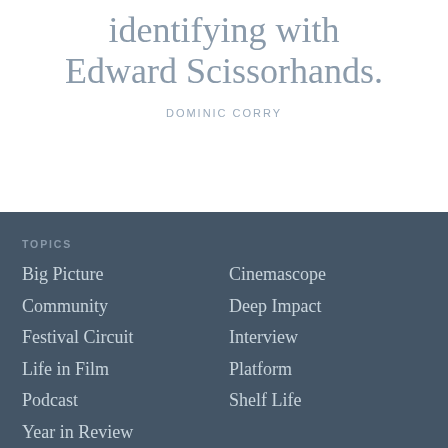identifying with Edward Scissorhands.
DOMINIC CORRY
TOPICS
Big Picture
Cinemascope
Community
Deep Impact
Festival Circuit
Interview
Life in Film
Platform
Podcast
Shelf Life
Year in Review